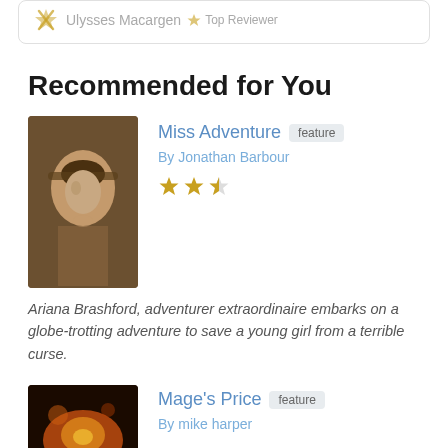Ulysses Macargen  Top Reviewer
Recommended for You
[Figure (photo): Book cover for Miss Adventure showing a woman in a hat]
Miss Adventure
By Jonathan Barbour
Ariana Brashford, adventurer extraordinaire embarks on a globe-trotting adventure to save a young girl from a terrible curse.
[Figure (photo): Book cover for Mage's Price with fire/magic imagery]
Mage's Price
By mike harper